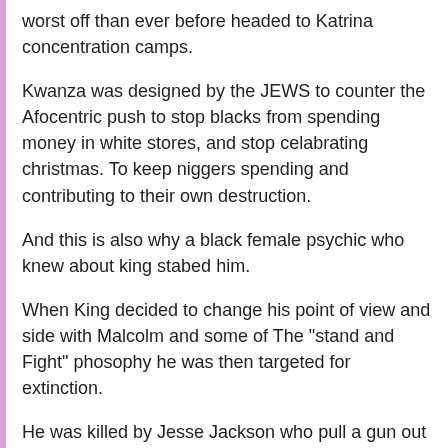worst off than ever before headed to Katrina concentration camps.
Kwanza was designed by the JEWS to counter the Afocentric push to stop blacks from spending money in white stores, and stop celabrating christmas. To keep niggers spending and contributing to their own destruction.
And this is also why a black female psychic who knew about king stabed him.
When King decided to change his point of view and side with Malcolm and some of The "stand and Fight" phosophy he was then targeted for extinction.
He was killed by Jesse Jackson who pull a gun out a bag and shot King at point blank range and